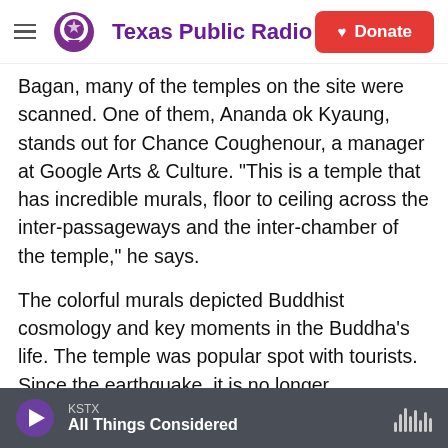Texas Public Radio | Donate
Bagan, many of the temples on the site were scanned. One of them, Ananda ok Kyaung, stands out for Chance Coughenour, a manager at Google Arts & Culture. "This is a temple that has incredible murals, floor to ceiling across the inter-passageways and the inter-chamber of the temple," he says.
The colorful murals depicted Buddhist cosmology and key moments in the Buddha's life. The temple was popular spot with tourists. Since the earthquake, it is no longer accessible. Now 3D scans of the murals are on Google's Arts & Culture
KSTX | All Things Considered